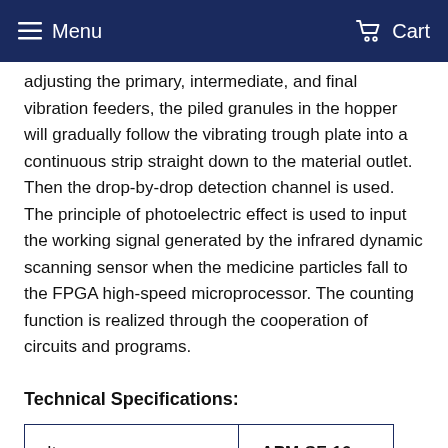Menu  Cart
adjusting the primary, intermediate, and final vibration feeders, the piled granules in the hopper will gradually follow the vibrating trough plate into a continuous strip straight down to the material outlet. Then the drop-by-drop detection channel is used. The principle of photoelectric effect is used to input the working signal generated by the infrared dynamic scanning sensor when the medicine particles fall to the FPGA high-speed microprocessor. The counting function is realized through the cooperation of circuits and programs.
Technical Specifications:
| Item | APM-SF-16 |
| --- | --- |
| Steady speed | 12,000pcs/pcs |